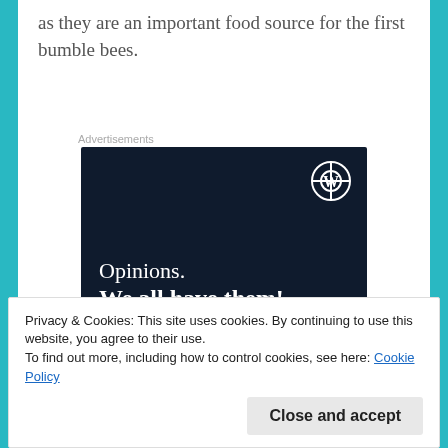as they are an important food source for the first bumble bees.
Advertisements
[Figure (screenshot): WordPress advertisement banner with dark navy background showing WordPress logo, text 'Opinions. We all have them!', a pink button, and a circular element at bottom right.]
Privacy & Cookies: This site uses cookies. By continuing to use this website, you agree to their use.
To find out more, including how to control cookies, see here: Cookie Policy
Close and accept